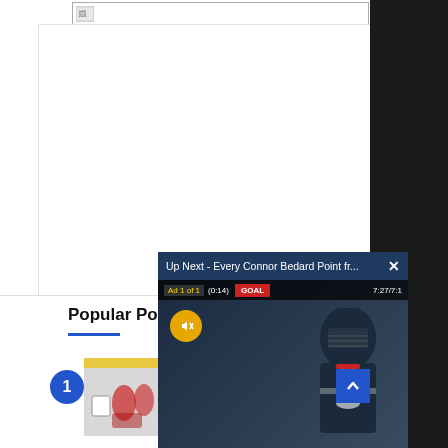[Figure (screenshot): Broken image placeholder at top of white content area]
Popular Posts
[Figure (photo): Hockey players on ice rink, post item thumbnail]
Th... De...
N...
[Figure (screenshot): Video popup overlay: Up Next - Every Connor Bedard Point fr... with hockey player visible, Ad 1 of 1 (0:14), GOAL label, mute button active]